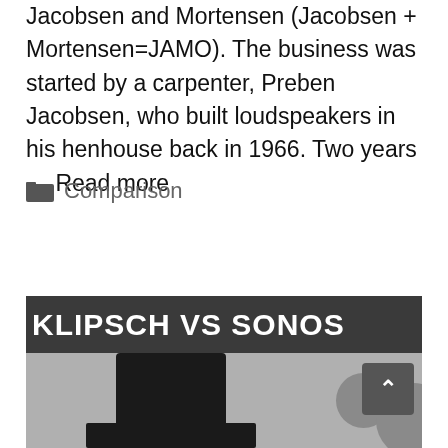Jacobsen and Mortensen (Jacobsen + Mortensen=JAMO). The business was started by a carpenter, Preben Jacobsen, who built loudspeakers in his henhouse back in 1966. Two years … Read more
Comparison
[Figure (photo): Image with dark gray banner showing 'KLIPSCH VS SONOS' in bold white uppercase text, and below it a gray section showing black tower speakers on the left and gray circular Sonos speakers on the right, with a scroll-to-top button in the bottom right corner.]